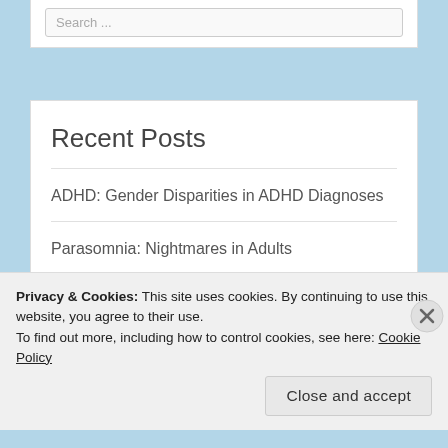Search ...
Recent Posts
ADHD: Gender Disparities in ADHD Diagnoses
Parasomnia: Nightmares in Adults
Family Therapy: Reasons to Seek Treatment & What to Expect
Suicide: What is Suicide Grief?
Privacy & Cookies: This site uses cookies. By continuing to use this website, you agree to their use. To find out more, including how to control cookies, see here: Cookie Policy
Close and accept